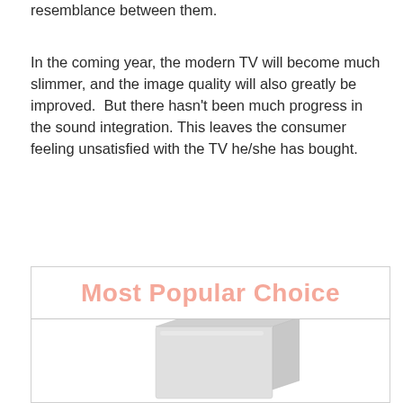resemblance between them.
In the coming year, the modern TV will become much slimmer, and the image quality will also greatly be improved.  But there hasn't been much progress in the sound integration. This leaves the consumer feeling unsatisfied with the TV he/she has bought.
Most Popular Choice
[Figure (photo): A white/light gray rectangular device (appears to be a soundbar or small appliance) shown partially at the bottom of the image area within a bordered box.]